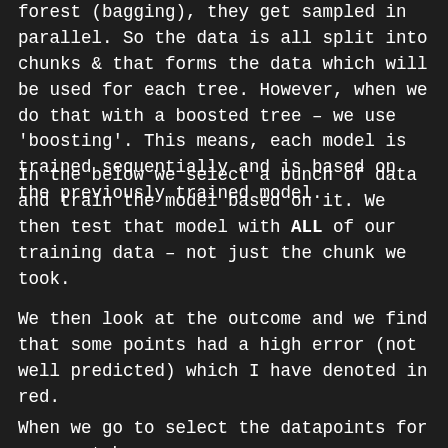forest (bagging), they get sampled in parallel. So the data is all split into chunks & that forms the data which will be used for each tree. However, when we do that with a boosted tree – we use 'boosting'. This means, each model is trained sequentially and is based on the previously trained model.
In the below we select a bunch of data and train the model based on it. We then test that model with ALL of our training data – not just the chunk we took.
We then look at the outcome and we find that some points had a high error (not well predicted) which I have denoted in red.
When we go to select the datapoints for our next bag